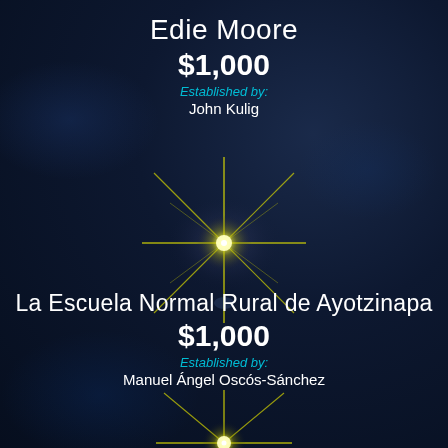Edie Moore
$1,000
Established by:
John Kulig
[Figure (illustration): Bright star burst / lens flare effect with yellow-white light rays on dark navy background, centered in the middle of the page]
La Escuela Normal Rural de Ayotzinapa
$1,000
Established by:
Manuel Ángel Oscós-Sánchez
[Figure (illustration): Bright star burst / lens flare effect with yellow-white light rays on dark navy background, centered near bottom of page]